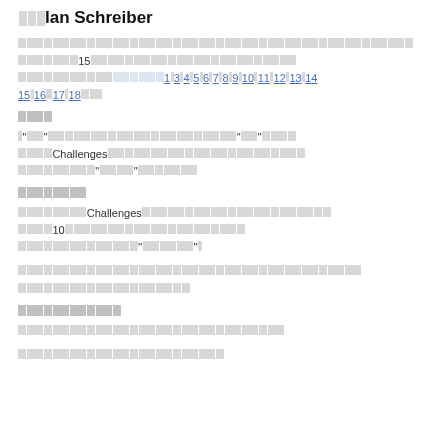Ian Schreiber
[CJK text block with references to chapter 15 and numbered links 1–18]
[CJK section header]
[CJK text block mentioning 'Challenges' and related content]
[CJK section header]
[CJK text block mentioning 'Challenges' and the number 10]
[CJK text block]
[CJK section header]
[CJK text block]
[CJK text block]